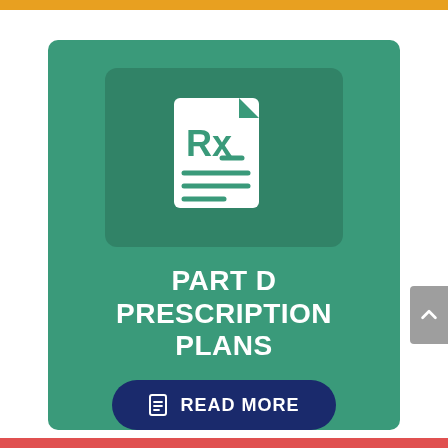[Figure (illustration): Green card with prescription document (Rx) icon and 'PART D PRESCRIPTION PLANS' title and a dark blue 'READ MORE' button]
PART D PRESCRIPTION PLANS
READ MORE